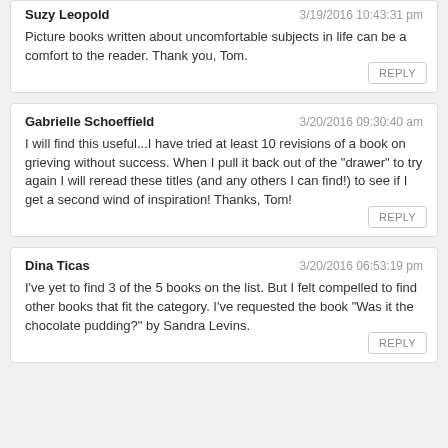Suzy Leopold — 3/19/2016 10:43:31 pm
Picture books written about uncomfortable subjects in life can be a comfort to the reader. Thank you, Tom.
Gabrielle Schoeffield — 3/20/2016 09:30:40 am
I will find this useful...I have tried at least 10 revisions of a book on grieving without success. When I pull it back out of the "drawer" to try again I will reread these titles (and any others I can find!) to see if I get a second wind of inspiration! Thanks, Tom!
Dina Ticas — 3/20/2016 06:53:19 pm
I've yet to find 3 of the 5 books on the list. But I felt compelled to find other books that fit the category. I've requested the book "Was it the chocolate pudding?" by Sandra Levins.